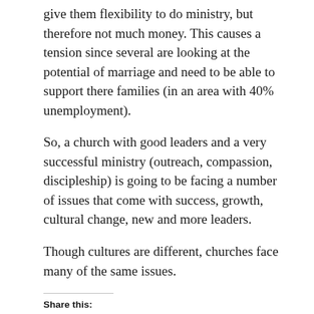give them flexibility to do ministry, but therefore not much money. This causes a tension since several are looking at the potential of marriage and need to be able to support there families (in an area with 40% unemployment).
So, a church with good leaders and a very successful ministry (outreach, compassion, discipleship) is going to be facing a number of issues that come with success, growth, cultural change, new and more leaders.
Though cultures are different, churches face many of the same issues.
Share this: